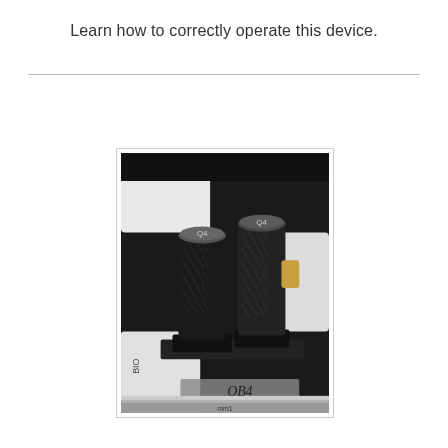Learn how to correctly operate this device.
[Figure (photo): Close-up photo of two black knurled cylindrical control knobs with metallic tops on a white device labeled QB4. The knobs have a diamond-pattern texture on their bodies and are mounted on a black base plate.]